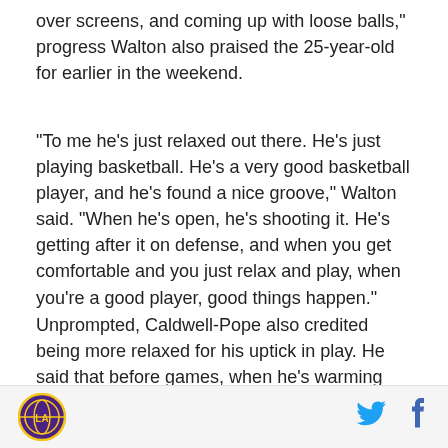over screens, and coming up with loose balls," progress Walton also praised the 25-year-old for earlier in the weekend.
"To me he's just relaxed out there. He's just playing basketball. He's a very good basketball player, and he's found a nice groove," Walton said. “When he's open, he's shooting it. He's getting after it on defense, and when you get comfortable and you just relax and play, when you’re a good player, good things happen."
Unprompted, Caldwell-Pope also credited being more relaxed for his uptick in play. He said that before games, when he’s warming up, he now focuses on taking a deep breath before every shot to fully relay
[Figure (logo): Lakers circular logo in purple and gold]